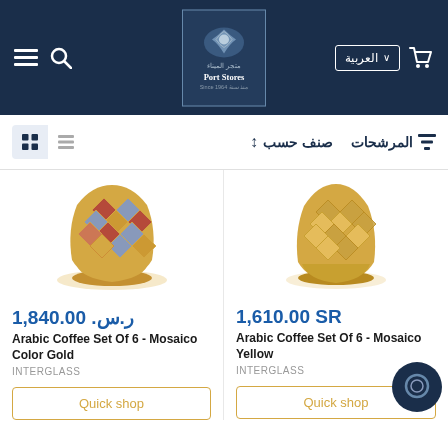[Figure (screenshot): E-commerce website header for Port Stores (متجر الميناء) showing navigation bar with hamburger menu, search icon, logo, Arabic language selector, and cart icon on dark navy background]
[Figure (screenshot): Filter/sort bar with المرشحات (filters) and صنف حسب (sort by) options, plus grid and list view toggle icons]
[Figure (photo): Arabic Coffee Set Of 6 - Mosaico Color Gold cup with colorful diamond pattern in red, blue, and gold]
ر.س. 1,840.00
Arabic Coffee Set Of 6 - Mosaico Color Gold
INTERGLASS
Quick shop
[Figure (photo): Arabic Coffee Set Of 6 - Mosaico Yellow cup with yellow/gold diamond lattice pattern]
1,610.00 SR
Arabic Coffee Set Of 6 - Mosaico Yellow
INTERGLASS
Quick shop